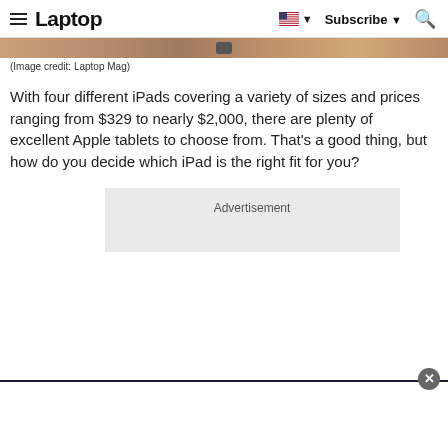Laptop  Subscribe
[Figure (photo): Partial bottom edge of an iPad or Apple device in rose gold/copper color, cropped image strip]
(Image credit: Laptop Mag)
With four different iPads covering a variety of sizes and prices ranging from $329 to nearly $2,000, there are plenty of excellent Apple tablets to choose from. That's a good thing, but how do you decide which iPad is the right fit for you?
[Figure (other): Advertisement placeholder box]
[Figure (other): Bottom notification/ad bar with close button]